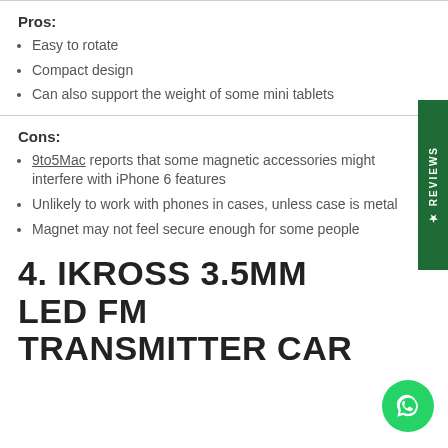Pros:
Easy to rotate
Compact design
Can also support the weight of some mini tablets
Cons:
9to5Mac reports that some magnetic accessories might interfere with iPhone 6 features
Unlikely to work with phones in cases, unless case is metal
Magnet may not feel secure enough for some people
4. IKROSS 3.5MM LED FM TRANSMITTER CAR